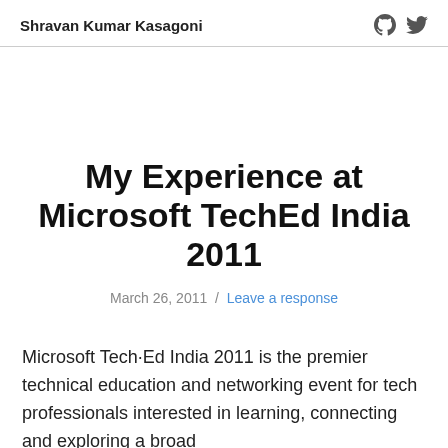Shravan Kumar Kasagoni
My Experience at Microsoft TechEd India 2011
March 26, 2011 / Leave a response
Microsoft Tech·Ed India 2011 is the premier technical education and networking event for tech professionals interested in learning, connecting and exploring a broad